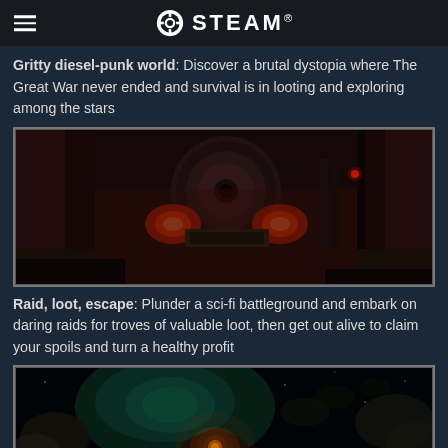STEAM®
Gritty diesel-punk world: Discover a brutal dystopia where The Great War never ended and survival is in looting and exploring among the stars
[Figure (screenshot): Dark sci-fi interior screenshot showing a gritty industrial space with red glowing lights, large cylindrical tank, and dark metal structures]
Raid, loot, escape: Plunder a sci-fi battleground and embark on daring raids for troves of valuable loot, then get out alive to claim your spoils and turn a healthy profit
[Figure (screenshot): Space scene screenshot showing dark environment with teal/green nebula lighting, spacecraft debris, and a glowing mechanical device in foreground]